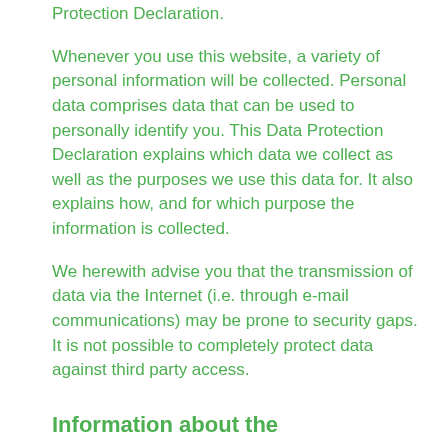Protection Declaration.
Whenever you use this website, a variety of personal information will be collected. Personal data comprises data that can be used to personally identify you. This Data Protection Declaration explains which data we collect as well as the purposes we use this data for. It also explains how, and for which purpose the information is collected.
We herewith advise you that the transmission of data via the Internet (i.e. through e-mail communications) may be prone to security gaps. It is not possible to completely protect data against third party access.
Information about the